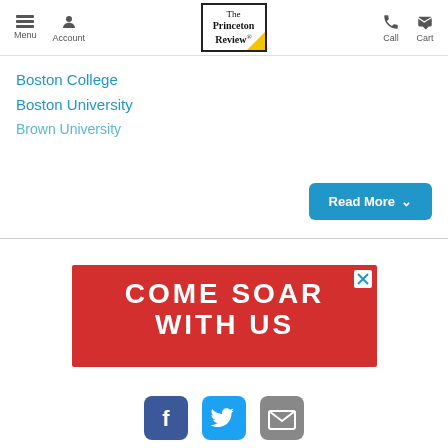Menu | Account | The Princeton Review | Call | Cart
Boston College
Boston University
Brown University
[Figure (screenshot): Red advertisement banner reading COME SOAR WITH US with a close button]
Facebook, Twitter, Email social icons